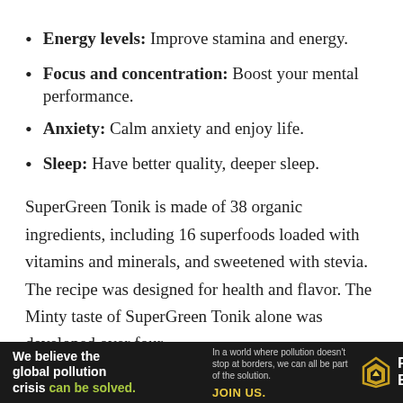Energy levels: Improve stamina and energy.
Focus and concentration: Boost your mental performance.
Anxiety: Calm anxiety and enjoy life.
Sleep: Have better quality, deeper sleep.
SuperGreen Tonik is made of 38 organic ingredients, including 16 superfoods loaded with vitamins and minerals, and sweetened with stevia. The recipe was designed for health and flavor. The Minty taste of SuperGreen Tonik alone was developed over four
[Figure (infographic): Pure Earth advertisement banner with black background. Left side bold white text: 'We believe the global pollution crisis can be solved.' with 'can be solved.' in green. Middle text: 'In a world where pollution doesn't stop at borders, we can all be part of the solution. JOIN US.' Right side shows Pure Earth logo with diamond/arrow icon and PURE EARTH text in white.]